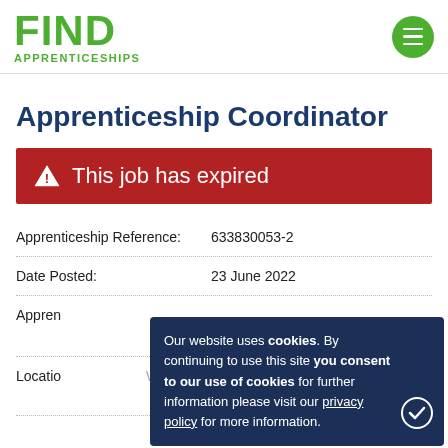FIND APPRENTICESHIPS
Apprenticeship Coordinator
⚠ This job has expired
| Field | Value |
| --- | --- |
| Apprenticeship Reference: | 633830053-2 |
| Date Posted: | 23 June 2022 |
| Apprenticeship Type: | (partially visible) |
| Location: | Warminster, Wiltshire |
Our website uses cookies. By continuing to use this site you consent to our use of cookies for further information please visit our privacy policy for more information.